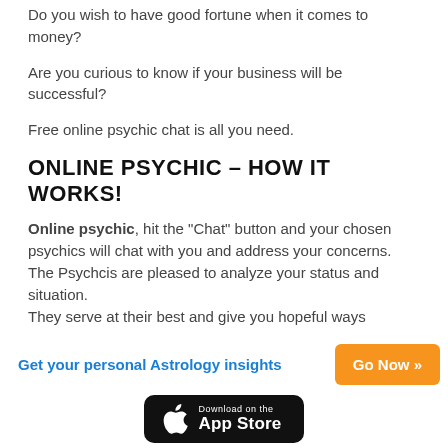Do you wish to have good fortune when it comes to money?
Are you curious to know if your business will be successful?
Free online psychic chat is all you need.
ONLINE PSYCHIC – HOW IT WORKS!
Online psychic, hit the "Chat" button and your chosen psychics will chat with you and address your concerns. The Psychcis are pleased to analyze your status and situation.
They serve at their best and give you hopeful ways
Get your personal Astrology insights
Go Now »
[Figure (logo): Download on the App Store button (black rounded rectangle with Apple logo)]